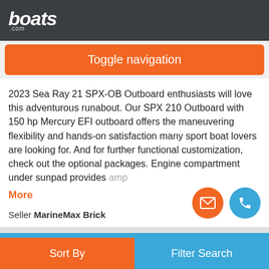boats.com
Toggle navigation
2023 Sea Ray 21 SPX-OB Outboard enthusiasts will love this adventurous runabout. Our SPX 210 Outboard with 150 hp Mercury EFI outboard offers the maneuvering flexibility and hands-on satisfaction many sport boat lovers are looking for. And for further functional customization, check out the optional packages. Engine compartment under sunpad provides amp
More
Seller MarineMax Brick
New Arrival
37
1
Sort By | Filter Search